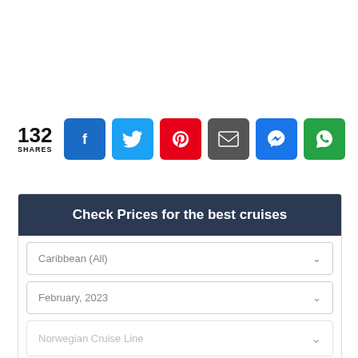[Figure (infographic): Social share bar with 132 shares count and 6 social media buttons: Facebook (blue), Twitter (light blue), Pinterest (red), Email (dark gray), Messenger (blue), WhatsApp (green)]
Check Prices for the best cruises
Caribbean (All)
February, 2023
Norwegian Cruise Line
3 Night Bahamas (Miami Roundtrip)